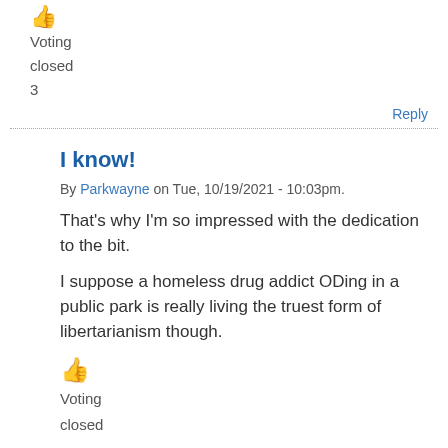[Figure (illustration): Thumbs up emoji icon (orange/golden color), partially visible at top]
Voting
closed
3
Reply
I know!
By Parkwayne on Tue, 10/19/2021 - 10:03pm.
That's why I'm so impressed with the dedication to the bit.

I suppose a homeless drug addict ODing in a public park is really living the truest form of libertarianism though.
[Figure (illustration): Thumbs up emoji icon (orange/golden color)]
Voting
closed